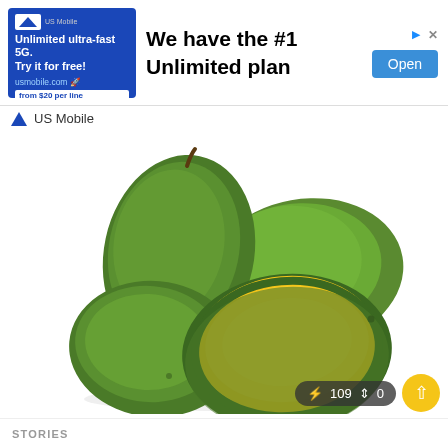[Figure (screenshot): Advertisement banner for US Mobile featuring blue background with text 'Unlimited ultra-fast 5G. Try it for free! usmobile.com from $20 per line' on the left, bold headline 'We have the #1 Unlimited plan' in the middle, and an 'Open' button on the right with ad corner icons.]
US Mobile
[Figure (photo): Three green mangoes on a white background, one cut in half showing bright yellow-orange flesh inside.]
⚡ 109 ↕ 0
STORIES